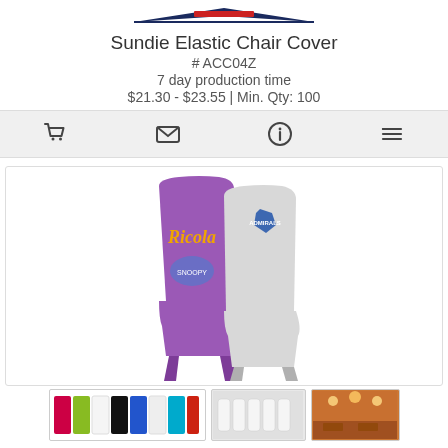[Figure (logo): Company logo bar with navy and red stripe design at top center]
Sundie Elastic Chair Cover
# ACC04Z
7 day production time
$21.30 - $23.55 | Min. Qty: 100
[Figure (infographic): Toolbar with four icons: shopping cart, envelope/email, info circle, and list/menu]
[Figure (photo): Product photo showing two elastic chair covers: one purple with Ricola and Snoopy logo, one white/gray with Admirals logo]
[Figure (photo): Thumbnails row: color swatches strip showing multiple colors, white chair covers in venue photo, orange/warm-lit venue photo]